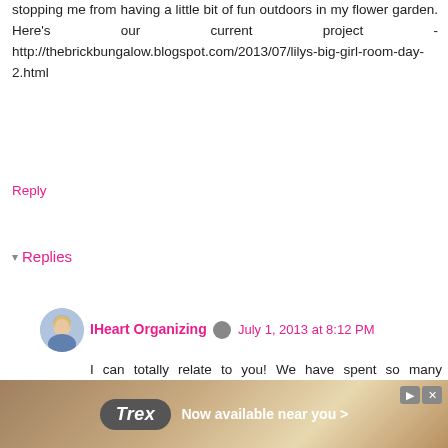stopping me from having a little bit of fun outdoors in my flower garden. Here's our current project - http://thebrickbungalow.blogspot.com/2013/07/lilys-big-girl-room-day-2.html
Reply
Replies
IHeart Organizing  July 1, 2013 at 8:12 PM
I can totally relate to you! We have spent so many summer's focusing on the interior, that the exterior was always put on the back burner. Since we had such a long winter this year, my brain instantly went outside at the first sign of sun and warmth. I decided that I wanted a happy place outside to unwind after working on inside projects {we still have two bathroom's and a kitchen to tackle}. :) Congrats on the new baby and best wishes as you continue to work on the
[Figure (other): Trex advertisement banner at bottom of page]